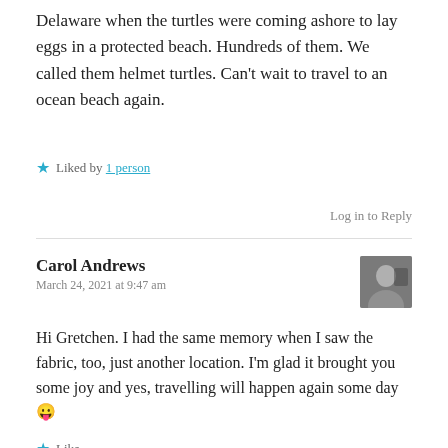Delaware when the turtles were coming ashore to lay eggs in a protected beach. Hundreds of them. We called them helmet turtles. Can't wait to travel to an ocean beach again.
★ Liked by 1 person
Log in to Reply
Carol Andrews
March 24, 2021 at 9:47 am
Hi Gretchen. I had the same memory when I saw the fabric, too, just another location. I'm glad it brought you some joy and yes, travelling will happen again some day 😉
★ Like